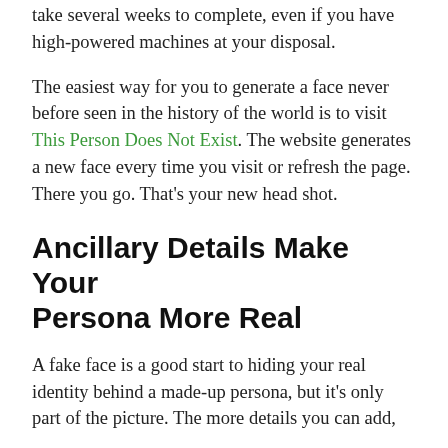take several weeks to complete, even if you have high-powered machines at your disposal.
The easiest way for you to generate a face never before seen in the history of the world is to visit This Person Does Not Exist. The website generates a new face every time you visit or refresh the page. There you go. That’s your new head shot.
Ancillary Details Make Your Persona More Real
A fake face is a good start to hiding your real identity behind a made-up persona, but it’s only part of the picture. The more details you can add,